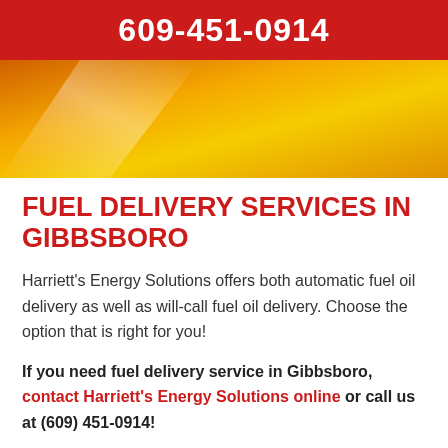609-451-0914
[Figure (illustration): Orange and yellow gradient decorative banner with diagonal light streak]
FUEL DELIVERY SERVICES IN GIBBSBORO
Harriett's Energy Solutions offers both automatic fuel oil delivery as well as will-call fuel oil delivery. Choose the option that is right for you!
If you need fuel delivery service in Gibbsboro, contact Harriett's Energy Solutions online or call us at (609) 451-0914!